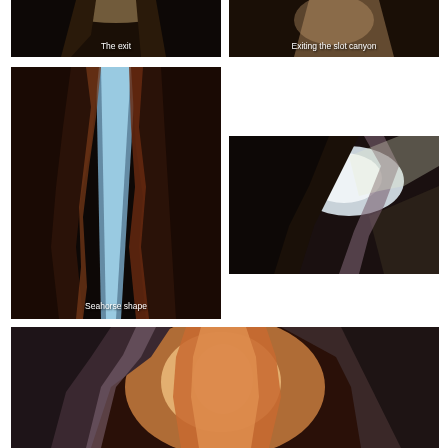[Figure (photo): Photo of the exit of a slot canyon, dark rocky walls with light beyond, caption reads 'The exit']
[Figure (photo): Photo of exiting a slot canyon, sandy rock walls, caption reads 'Exiting the slot canyon']
[Figure (photo): Tall vertical photo of a slot canyon opening showing a seahorse-shaped silhouette of sky between the walls, caption reads 'Seahorse shape']
[Figure (photo): Photo looking up through a slot canyon opening with light streaming in, no caption]
[Figure (photo): Wide photo of the interior of a slot canyon with warm orange and purple sandstone walls and bright light in the center, no caption]